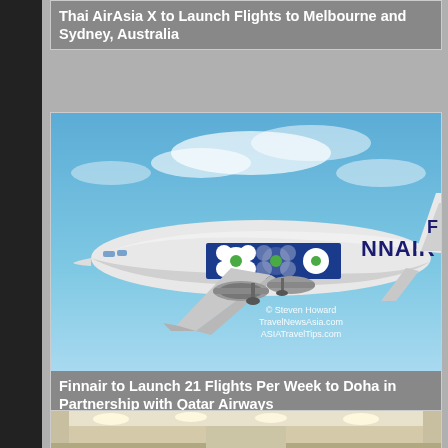Thai AirAsia X to Launch Flights to Melbourne and Sydney, Australia
[Figure (photo): Finnair Airbus A330 aircraft in flight with Marimekko flower livery on the fuselage, blue sky background. Watermark: © Steven Howard TravelNewsAsia.com ASIATravelTips.com]
Finnair to Launch 21 Flights Per Week to Doha in Partnership with Qatar Airways
[Figure (photo): Partial view of an aircraft cabin interior, visible at the bottom of the page]